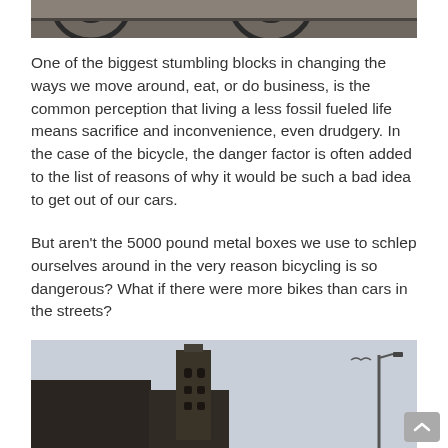[Figure (photo): Partial view of bicycle wheels on a cobblestone or paved street, dark tones, bottom portion of a photo.]
One of the biggest stumbling blocks in changing the ways we move around, eat, or do business, is the common perception that living a less fossil fueled life means sacrifice and inconvenience, even drudgery. In the case of the bicycle, the danger factor is often added to the list of reasons of why it would be such a bad idea to get out of our cars.
But aren't the 5000 pound metal boxes we use to schlep ourselves around in the very reason bicycling is so dangerous? What if there were more bikes than cars in the streets?
[Figure (photo): Urban street scene showing a tall church or bell tower against a light grey sky, with a street lamp visible.]